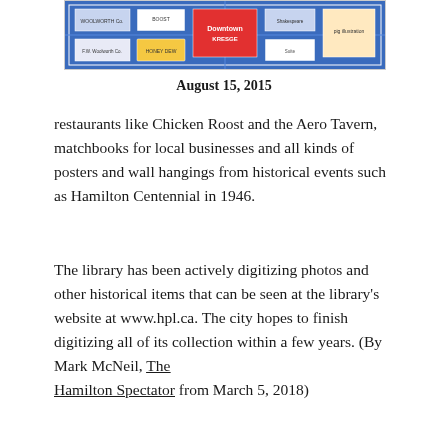[Figure (map): Partial view of a colorful blue vintage downtown map showing storefronts and business names including Downtown, KRESGE, Shakespeare]
August 15, 2015
restaurants like Chicken Roost and the Aero Tavern, matchbooks for local businesses and all kinds of posters and wall hangings from historical events such as Hamilton Centennial in 1946.
The library has been actively digitizing photos and other historical items that can be seen at the library’s website at www.hpl.ca. The city hopes to finish digitizing all of its collection within a few years. (By Mark McNeil, The Hamilton Spectator from March 5, 2018)